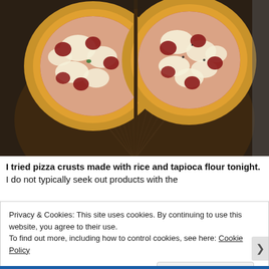[Figure (photo): Two round pizza crusts made with rice and tapioca flour on a dark wooden pizza stone/board, topped with red tomato sauce, melted mozzarella cheese, and what appears to be salami or pepperoni. The pizzas are cut and slightly separated. Background shows a kitchen countertop.]
I tried pizza crusts made with rice and tapioca flour tonight. I do not typically seek out products with the
Privacy & Cookies: This site uses cookies. By continuing to use this website, you agree to their use.
To find out more, including how to control cookies, see here: Cookie Policy
Close and accept